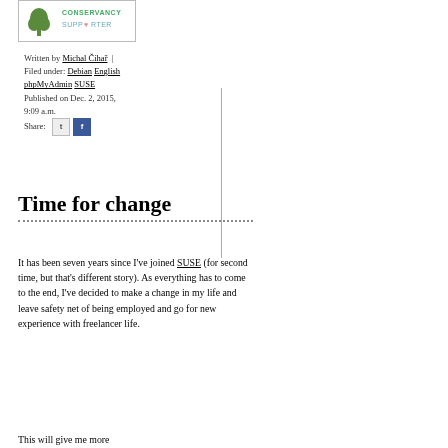[Figure (logo): Software Freedom Conservancy Supporter logo with green tree icon]
Written by Michal Čihař | Filed under: Debian English phpMyAdmin SUSE Published on Dec. 2, 2015, 9:09 a.m. Share:
Time for change
It has been seven years since I've joined SUSE (for second time, but that's different story). As everything has to come to the end, I've decided to make a change in my life and leave safety net of being employed and go for new experience with freelancer life.
This will give me more